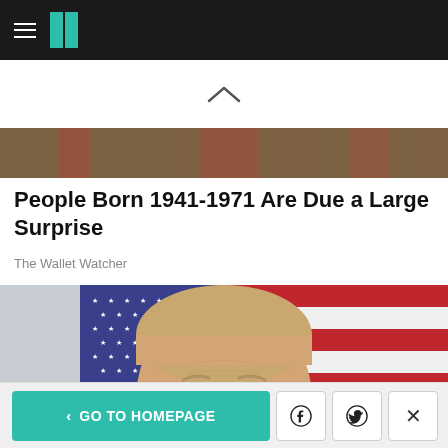HuffPost navigation header with hamburger menu and logo
[Figure (photo): Partial image strip showing colorful scene at top of article]
People Born 1941-1971 Are Due a Large Surprise
The Wallet Watcher
[Figure (photo): Close-up portrait of a middle-aged man with short blonde/grey hair in front of an American flag background]
GO TO HOMEPAGE | Facebook share | Twitter share | Close